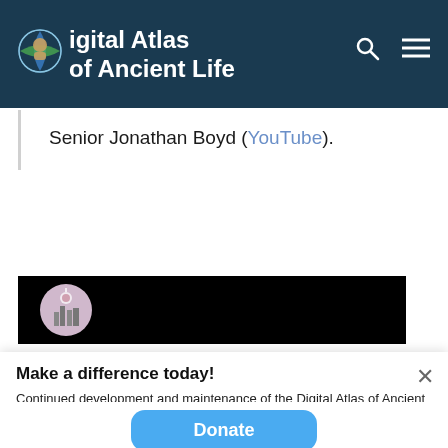Digital Atlas of Ancient Life
Senior Jonathan Boyd (YouTube).
[Figure (screenshot): Video thumbnail strip showing a circular profile image on a black background]
Make a difference today!
Continued development and maintenance of the Digital Atlas of Ancient Life depends on support from visitors like you.
Donate